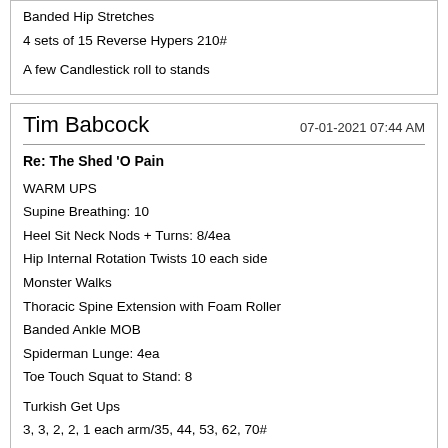Banded Hip Stretches
4 sets of 15 Reverse Hypers 210#

A few Candlestick roll to stands
Tim Babcock    07-01-2021 07:44 AM
Re: The Shed 'O Pain
WARM UPS
Supine Breathing: 10
Heel Sit Neck Nods + Turns: 8/4ea
Hip Internal Rotation Twists 10 each side
Monster Walks
Thoracic Spine Extension with Foam Roller
Banded Ankle MOB
Spiderman Lunge: 4ea
Toe Touch Squat to Stand: 8

Turkish Get Ups
3, 3, 2, 2, 1 each arm/35, 44, 53, 62, 70#

Quick and the Dead
0-1 8 kettlebell Swings 0-1 88#
1-2 8 kettlebell Swings 1-2
Rest 2-3
1 ring muscle up
1 ring muscle up
Rest 5-6